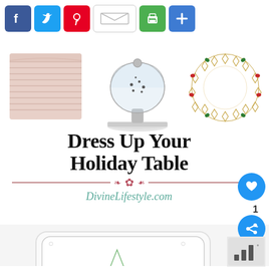[Figure (infographic): Social media sharing buttons: Facebook (blue), Twitter (blue), Pinterest (red), email/mail (white outlined), print (green printer icon), plus/more (blue)]
[Figure (infographic): Collage of holiday table items: striped pink napkin folded, glass cake dome on pedestal stand, decorative gold and gemstone oval placemat wreath]
Dress Up Your Holiday Table
[Figure (illustration): Decorative divider with pink/red leaf/floral ornaments on each side of a horizontal line]
DivineLifestyle.com
[Figure (photo): White rectangular serving platter with decorative border and small tree motif, partially visible]
[Figure (other): Heart/like button (blue circle with white heart icon), like count '1', share button (blue circle with share icon), and weatherbug logo area at bottom right]